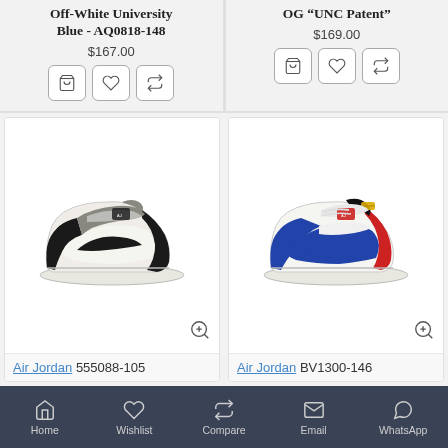Off-White University Blue - AQ0818-148
$167.00
OG “UNC Patent”
$169.00
[Figure (photo): Air Jordan sneaker - dark/grey colorway, high top, model 555088-105]
Air Jordan 555088-105
[Figure (photo): Air Jordan sneaker - blue/red/white colorway, high top, model BV1300-146]
Air Jordan BV1300-146
Home  Wishlist  Compare  Email  WhatsApp